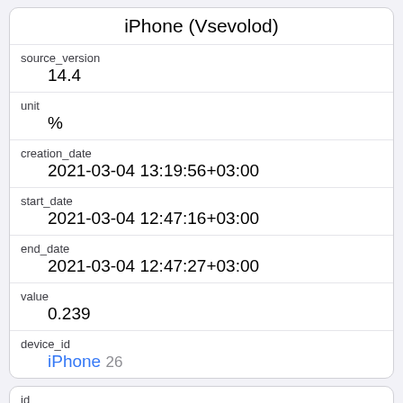| iPhone (Vsevolod) |
| source_version | 14.4 |
| unit | % |
| creation_date | 2021-03-04 13:19:56+03:00 |
| start_date | 2021-03-04 12:47:16+03:00 |
| end_date | 2021-03-04 12:47:27+03:00 |
| value | 0.239 |
| device_id | iPhone 26 |
| id | 361640 |
| created_at | 2021-03-04 17:19:47.923312+03:00 |